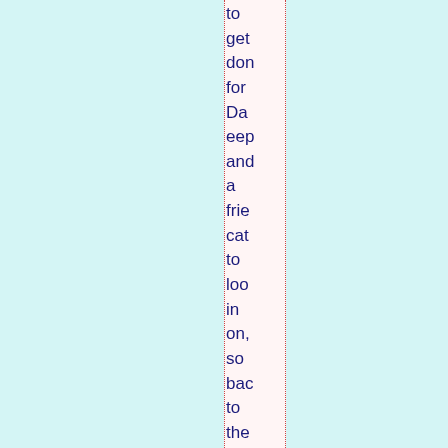to get don for Da eep and a frie cat to loo in on, so bac to the dar his salt min for